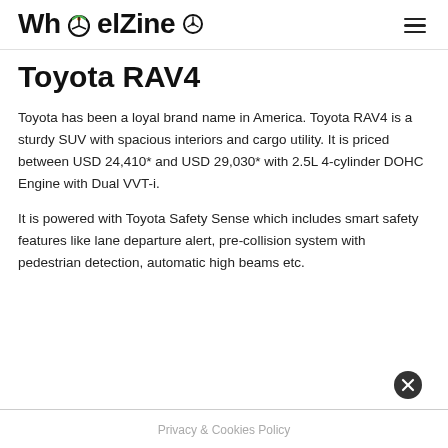WheelZine
Toyota RAV4
Toyota has been a loyal brand name in America. Toyota RAV4 is a sturdy SUV with spacious interiors and cargo utility. It is priced between USD 24,410* and USD 29,030* with 2.5L 4-cylinder DOHC Engine with Dual VVT-i.
It is powered with Toyota Safety Sense which includes smart safety features like lane departure alert, pre-collision system with pedestrian detection, automatic high beams etc.
Privacy & Cookies Policy